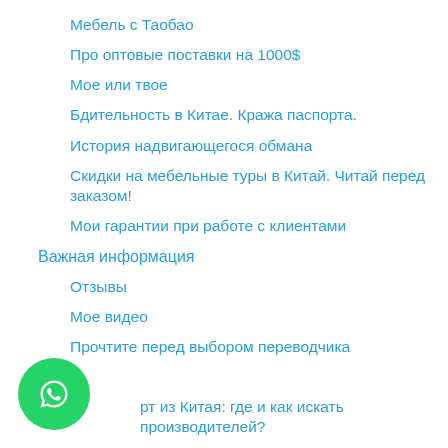Мебель с Таобао
Про оптовые поставки на 1000$
Мое или твое
Бдительность в Китае. Кража паспорта.
История надвигающегося обмана
Скидки на мебельные туры в Китай. Читай перед заказом!
Мои гарантии при работе с клиентами
Важная информация
Отзывы
Мое видео
Прочтите перед выбором переводчика
Блог
Импорт из Китая: где и как искать производителей?
вещей перед поездкой за мебелью в Китай
[Figure (logo): WhatsApp button icon (green circle with phone handset)]